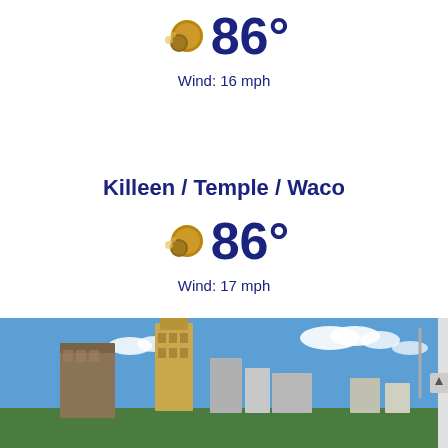[Figure (infographic): Partly sunny weather icon showing sun with dots]
86°
Wind: 16 mph
Killeen / Temple / Waco
[Figure (infographic): Partly sunny weather icon showing sun with dots]
86°
Wind: 17 mph
[Figure (photo): City skyline photo showing buildings against blue sky with clouds]